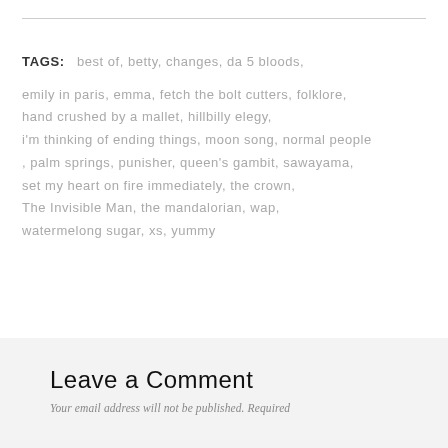TAGS: best of, betty, changes, da 5 bloods, emily in paris, emma, fetch the bolt cutters, folklore, hand crushed by a mallet, hillbilly elegy, i'm thinking of ending things, moon song, normal people, palm springs, punisher, queen's gambit, sawayama, set my heart on fire immediately, the crown, The Invisible Man, the mandalorian, wap, watermelong sugar, xs, yummy
Leave a Comment
Your email address will not be published. Required